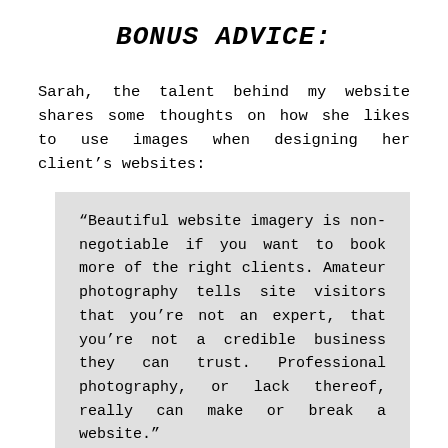BONUS ADVICE:
Sarah, the talent behind my website shares some thoughts on how she likes to use images when designing her client's websites:
“Beautiful website imagery is non-negotiable if you want to book more of the right clients. Amateur photography tells site visitors that you’re not an expert, that you’re not a credible business they can trust. Professional photography, or lack thereof, really can make or break a website.”